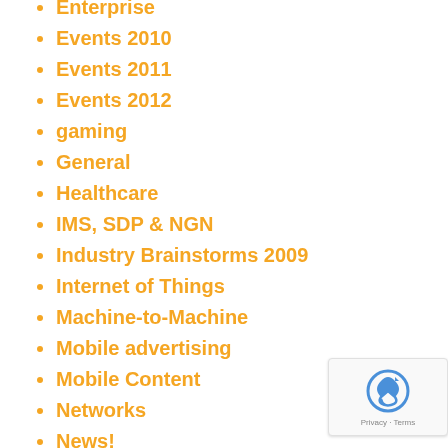Enterprise
Events 2010
Events 2011
Events 2012
gaming
General
Healthcare
IMS, SDP & NGN
Industry Brainstorms 2009
Internet of Things
Machine-to-Machine
Mobile advertising
Mobile Content
Networks
News!
Online Video Distribution
Portals, Partners and Platforms